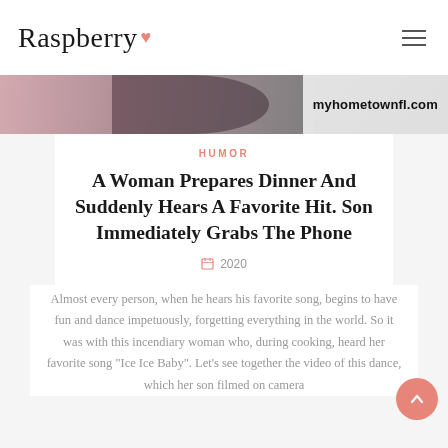Raspberry
[Figure (photo): A cropped image of a woman cooking, with a watermark overlay reading 'myhometownfl.com']
HUMOR
A Woman Prepares Dinner And Suddenly Hears A Favorite Hit. Son Immediately Grabs The Phone
2020
Almost every person, when he hears his favorite song, begins to have fun and dance impetuously, forgetting everything in the world. So it was with this incendiary woman who, during cooking, heard her favorite song "Ice Ice Baby". Let's see together the video of this dance, which her son filmed on camera